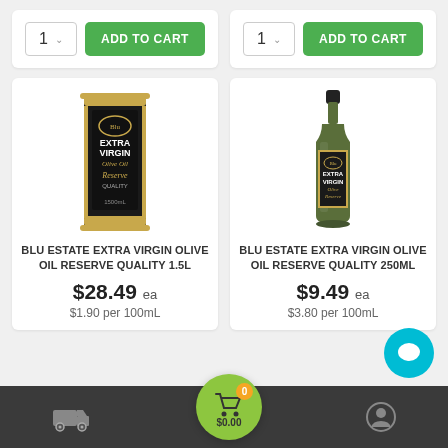[Figure (screenshot): Two Add to Cart controls at top, each with a quantity selector showing '1' and a green ADD TO CART button]
[Figure (photo): Blu Estate Extra Virgin Olive Oil Reserve Quality 1.5L tin — black label with gold trim]
BLU ESTATE EXTRA VIRGIN OLIVE OIL RESERVE QUALITY 1.5L
$28.49 ea
$1.90 per 100mL
[Figure (photo): Blu Estate Extra Virgin Olive Oil Reserve Quality 250mL bottle — dark glass bottle with black label]
BLU ESTATE EXTRA VIRGIN OLIVE OIL RESERVE QUALITY 250ML
$9.49 ea
$3.80 per 100mL
[Figure (screenshot): Bottom navigation bar with delivery truck icon, green cart bubble showing 0 items and $0.00, and user account icon. Teal chat button in bottom right.]